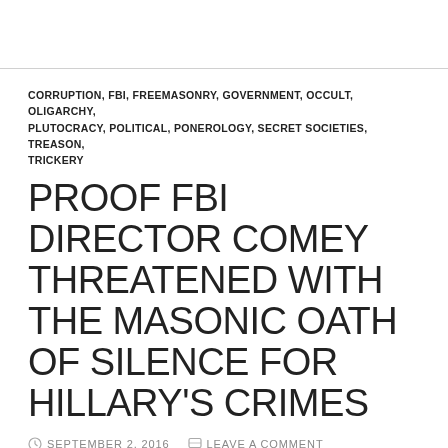CORRUPTION, FBI, FREEMASONRY, GOVERNMENT, OCCULT, OLIGARCHY, PLUTOCRACY, POLITICAL, PONEROLOGY, SECRET SOCIETIES, TREASON, TRICKERY
PROOF FBI DIRECTOR COMEY THREATENED WITH THE MASONIC OATH OF SILENCE FOR HILLARY'S CRIMES
SEPTEMBER 2, 2016   LEAVE A COMMENT
The problem of taking oaths to secret societies. Don't do it.